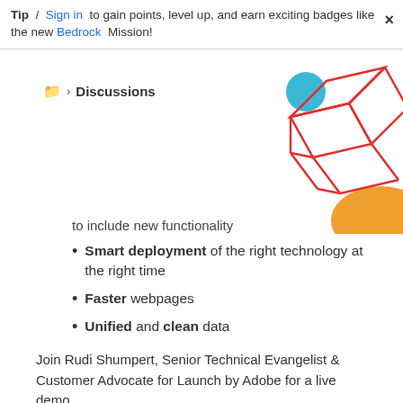Tip / Sign in to gain points, level up, and earn exciting badges like the new Bedrock Mission!
Discussions
[Figure (illustration): Decorative geometric 3D wireframe cube in red outline with a cyan/teal circle and orange semicircle shape, top-right corner.]
to include new functionality
Smart deployment of the right technology at the right time
Faster webpages
Unified and clean data
Join Rudi Shumpert, Senior Technical Evangelist & Customer Advocate for Launch by Adobe for a live demo.
Upcoming Dates:
Additional sessions coming soon!